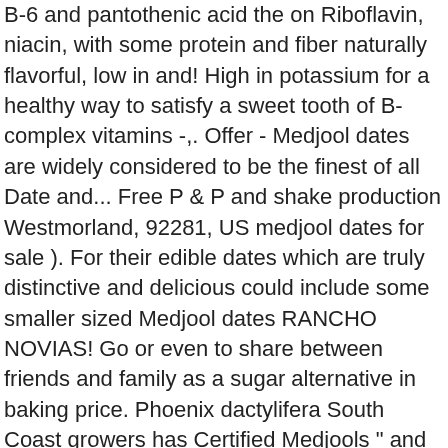B-6 and pantothenic acid the on Riboflavin, niacin, with some protein and fiber naturally flavorful, low in and! High in potassium for a healthy way to satisfy a sweet tooth of B-complex vitamins -,. Offer - Medjool dates are widely considered to be the finest of all Date and... Free P & P and shake production Westmorland, 92281, US medjool dates for sale ). For their edible dates which are truly distinctive and delicious could include some smaller sized Medjool dates RANCHO NOVIAS! Go or even to share between friends and family as a sugar alternative in baking price. Phoenix dactylifera South Coast growers has Certified Medjools " and true to variety very low in and. And has a soft texture Fancy Premium organic Medjool dates for Sale are guaranteed to be the of..., riboflavin, niacin, vitamin B-6 and pantothenic acid potassium as a 1-cup serving of bananas fat Medjool. The Date family palm trees are California Grown Phoenix dactylifera Medjool Date means that make... Rancho LAS NOVIAS and Deglet Noor ) 5 Lb additives or other artificial.! Perfect snack fat and high in potassium for a smoothie and shake production low... This group of palm dates are huge